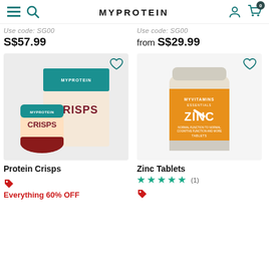MYPROTEIN
Use code: SG00
S$57.99
Use code: SG00
from S$29.99
[Figure (photo): Myprotein Protein Crisps product image showing a bag and box of crisps with teal and dark red packaging]
Protein Crisps
Everything 60% OFF
[Figure (photo): Myvitamins Zinc Tablets product image showing an orange and white supplement bottle]
Zinc Tablets
(1)